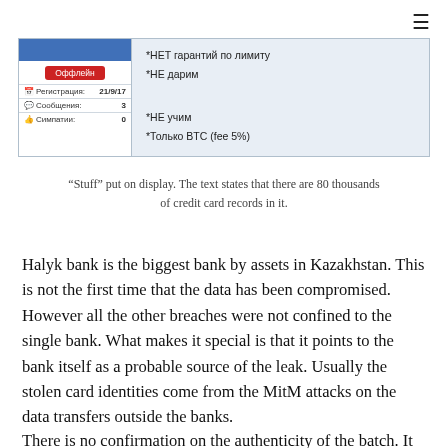[Figure (screenshot): Screenshot of a forum post in Russian. Left panel shows user profile with blue header, red 'Оффлейн' (Offline) button, registration date 21/9/17, messages count 3, likes 0. Right panel shows listing text in Russian: '*НЕТ гарантий по лимиту', '*НЕ дарим', '*НЕ учим', '*Только BTC (fee 5%)'.]
“Stuff” put on display. The text states that there are 80 thousands of credit card records in it.
Halyk bank is the biggest bank by assets in Kazakhstan. This is not the first time that the data has been compromised. However all the other breaches were not confined to the single bank. What makes it special is that it points to the bank itself as a probable source of the leak. Usually the stolen card identities come from the MitM attacks on the data transfers outside the banks.
There is no confirmation on the authenticity of the batch. It